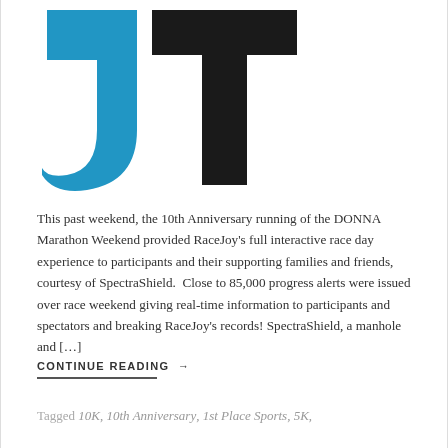[Figure (logo): JT logo — a blue stylized 'J' shape and a black stylized 'T' shape forming the letters JT]
This past weekend, the 10th Anniversary running of the DONNA Marathon Weekend provided RaceJoy's full interactive race day experience to participants and their supporting families and friends, courtesy of SpectraShield.  Close to 85,000 progress alerts were issued over race weekend giving real-time information to participants and spectators and breaking RaceJoy's records! SpectraShield, a manhole and […]
CONTINUE READING →
Tagged 10K, 10th Anniversary, 1st Place Sports, 5K,